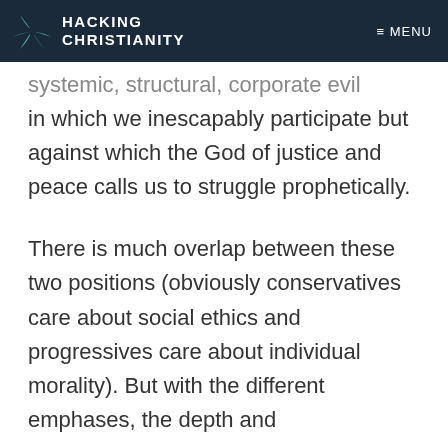HACKING CHRISTIANITY   ≡ MENU
systemic, structural, corporate evil in which we inescapably participate but against which the God of justice and peace calls us to struggle prophetically.
There is much overlap between these two positions (obviously conservatives care about social ethics and progressives care about individual morality). But with the different emphases, the depth and